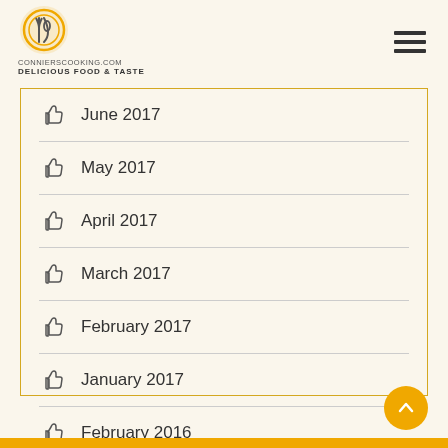CONNIERSCOOKING.COM DELICIOUS FOOD & TASTE
June 2017
May 2017
April 2017
March 2017
February 2017
January 2017
February 2016